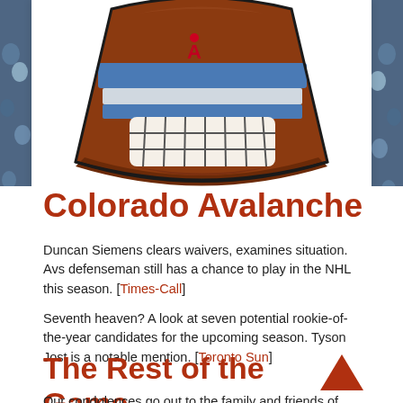[Figure (illustration): Cartoon illustration of a hockey goalie mask/helmet with Colorado Avalanche colors (burgundy/brown, blue and silver stripes), partially cropped at the top of the page]
Colorado Avalanche
Duncan Siemens clears waivers, examines situation. Avs defenseman still has a chance to play in the NHL this season. [Times-Call]
Seventh heaven? A look at seven potential rookie-of-the-year candidates for the upcoming season. Tyson Jost is a notable mention. [Toronto Sun]
The Rest of the Game
Our condolences go out to the family and friends of